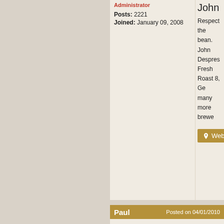Administrator
Posts: 2221
Joined: January 09, 2008
John
Respect the bean. John Despres Fresh Roast 8, Ge many more brewe
Web
Paul
Posted on 04/01/2010
[Figure (illustration): An owl made of coffee beans with two coffee cup circles as eyes]
@Randy-just sayin @bvwelch everyon brew beer, and alv To all I thank you i enticed to home br now I think I'll go c goes. Perhaps a P
Newbie
Posts: 7